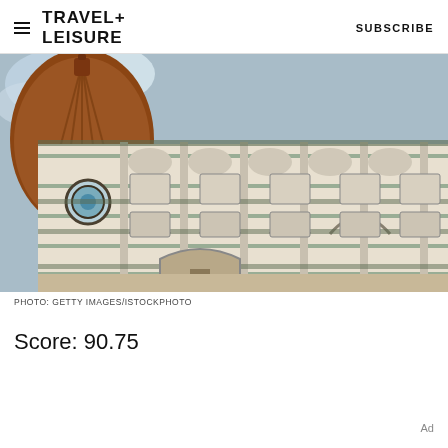TRAVEL+ LEISURE  SUBSCRIBE
[Figure (photo): Close-up architectural photo of Florence Cathedral (Duomo), showing ornate marble facade with green and white geometric patterns, arched niches, decorative reliefs, and the large brown dome visible in the upper left against a blue sky.]
PHOTO: GETTY IMAGES/ISTOCKPHOTO
Score: 90.75